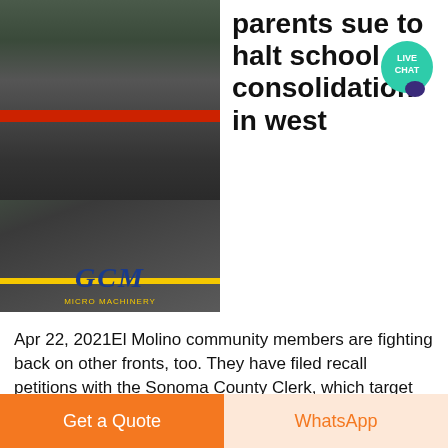[Figure (photo): Industrial milling machine with GCM logo, gray cylindrical equipment with red band]
parents sue to halt school consolidation in west
Apr 22, 2021El Molino community members are fighting back on other fronts, too. They have filed recall petitions with the Sonoma County Clerk, which target
SERVICIO EN LÍNEA>>
[Figure (photo): Industrial crusher/conveyor machine in black, with red accent parts]
EL MOLINO DEL ABUELO
El molino del abuelo does not want to be a place to
Get a Quote
WhatsApp